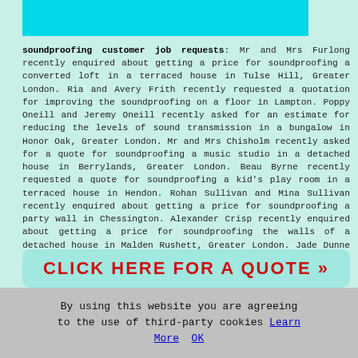[Figure (other): Cyan/turquoise banner image at top of page]
soundproofing customer job requests: Mr and Mrs Furlong recently enquired about getting a price for soundproofing a converted loft in a terraced house in Tulse Hill, Greater London. Ria and Avery Frith recently requested a quotation for improving the soundproofing on a floor in Lampton. Poppy Oneill and Jeremy Oneill recently asked for an estimate for reducing the levels of sound transmission in a bungalow in Honor Oak, Greater London. Mr and Mrs Chisholm recently asked for a quote for soundproofing a music studio in a detached house in Berrylands, Greater London. Beau Byrne recently requested a quote for soundproofing a kid's play room in a terraced house in Hendon. Rohan Sullivan and Mina Sullivan recently enquired about getting a price for soundproofing a party wall in Chessington. Alexander Crisp recently enquired about getting a price for soundproofing the walls of a detached house in Malden Rushett, Greater London. Jade Dunne recently asked for an estimate for soundproofing a library room in a detached house in Mitcham.
[Figure (other): Green/teal call-to-action button with red bold text: CLICK HERE FOR A QUOTE >>]
By using this website you are agreeing to the use of third-party cookies Learn More  OK